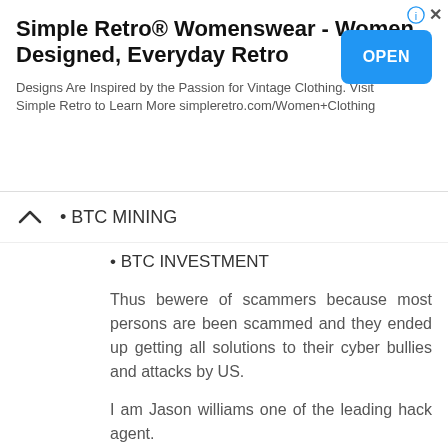[Figure (screenshot): Advertisement banner for Simple Retro® Womenswear with OPEN button]
• BTC MINING
• BTC INVESTMENT
Thus bewere of scammers because most persons are been scammed and they ended up getting all solutions to their cyber bullies and attacks by US.
I am Jason williams one of the leading hack agent.
PURPOSE IS TO GET YOUR JOBS DONE AT EXACTLY NEEDED TIME REQUESTED!!!
And our WORK SUCCESS IS 100%!!!